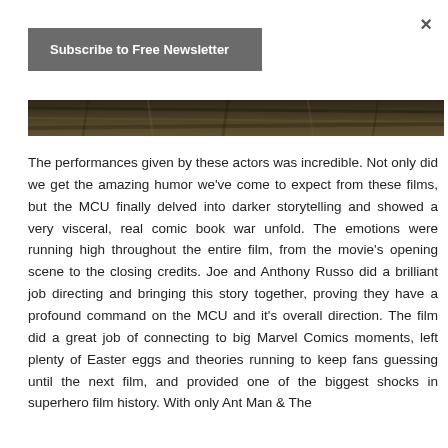×
Subscribe to Free Newsletter
[Figure (photo): Dark strip of a photo showing foliage or grass in dark tones, partially visible at top of content area]
The performances given by these actors was incredible. Not only did we get the amazing humor we've come to expect from these films, but the MCU finally delved into darker storytelling and showed a very visceral, real comic book war unfold. The emotions were running high throughout the entire film, from the movie's opening scene to the closing credits. Joe and Anthony Russo did a brilliant job directing and bringing this story together, proving they have a profound command on the MCU and it's overall direction. The film did a great job of connecting to big Marvel Comics moments, left plenty of Easter eggs and theories running to keep fans guessing until the next film, and provided one of the biggest shocks in superhero film history. With only Ant Man & The